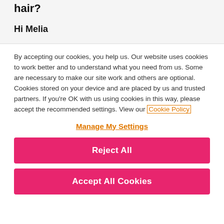hair?
Hi Melia
By accepting our cookies, you help us. Our website uses cookies to work better and to understand what you need from us. Some are necessary to make our site work and others are optional. Cookies stored on your device and are placed by us and trusted partners. If you're OK with us using cookies in this way, please accept the recommended settings. View our Cookie Policy
Manage My Settings
Reject All
Accept All Cookies